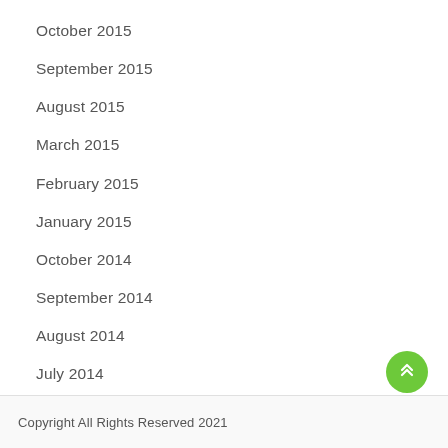October 2015
September 2015
August 2015
March 2015
February 2015
January 2015
October 2014
September 2014
August 2014
July 2014
Copyright All Rights Reserved 2021